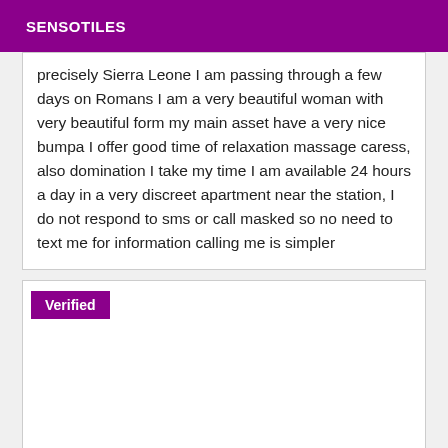SENSOTILES
precisely Sierra Leone I am passing through a few days on Romans I am a very beautiful woman with very beautiful form my main asset have a very nice bumpa I offer good time of relaxation massage caress, also domination I take my time I am available 24 hours a day in a very discreet apartment near the station, I do not respond to sms or call masked so no need to text me for information calling me is simpler
Verified